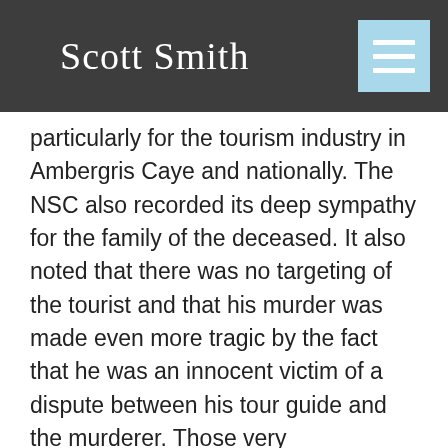Scott Smith
particularly for the tourism industry in Ambergris Caye and nationally. The NSC also recorded its deep sympathy for the family of the deceased. It also noted that there was no targeting of the tourist and that his murder was made even more tragic by the fact that he was an innocent victim of a dispute between his tour guide and the murderer. Those very circumstances underscore the critical need for our authorities to do better at increasing security both for our citizens and our visitors.

The NSC, therefore, agreed to some immediate measures that will later be